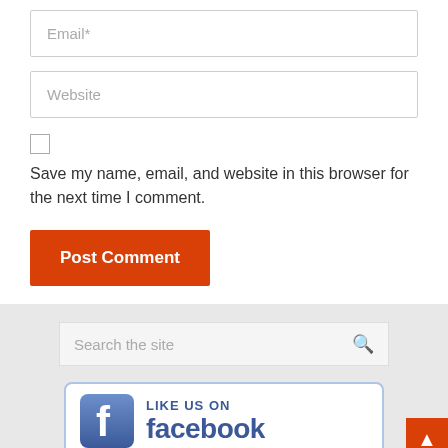Email*
Website
Save my name, email, and website in this browser for the next time I comment.
Post Comment
Search the site
[Figure (logo): Facebook Like Us On logo with Facebook icon and text 'LIKE US ON facebook']